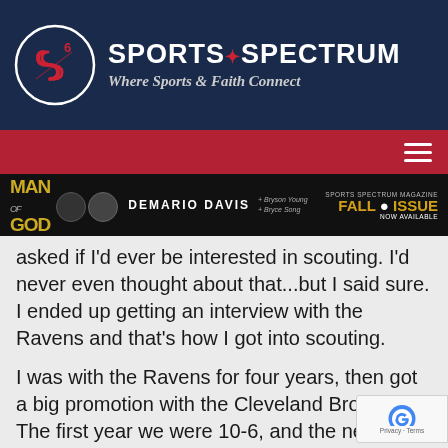Sports Spectrum — Where Sports & Faith Connect
[Figure (screenshot): Sports Spectrum website screenshot with logo, navigation bar, banner ad for Man of God featuring DeMario Davis, and article text excerpt about scouting and the Ravens and Cleveland Browns.]
asked if I'd ever be interested in scouting. I'd never even thought about that...but I said sure. I ended up getting an interview with the Ravens and that's how I got into scouting.

I was with the Ravens for four years, then got a big promotion with the Cleveland Browns. The first year we were 10-6, and the next year we were 4-12, and we all got let go. With 18 months